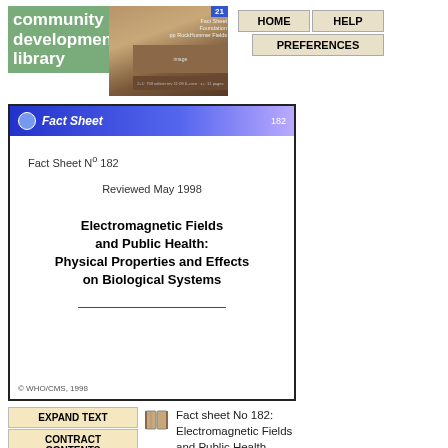[Figure (logo): Community Development Library logo with green text block and decorative image panel]
community development library
[Figure (screenshot): Navigation buttons: HOME, HELP, PREFERENCES]
[Figure (screenshot): Fact Sheet cover preview with header 'Fact Sheet', number 182, reviewed May 1998, title 'Electromagnetic Fields and Public Health: Physical Properties and Effects on Biological Systems', WHO/CMS 1998]
Fact Sheet N° 182
Reviewed May 1998
Electromagnetic Fields and Public Health: Physical Properties and Effects on Biological Systems
© WHO/CMS, 1998
EXPAND TEXT
CONTRACT CONTENTS
DETACH
HIGHLIGHTING
Fact sheet No 182: Electromagnetic Fields and Public Health - Physical properties and